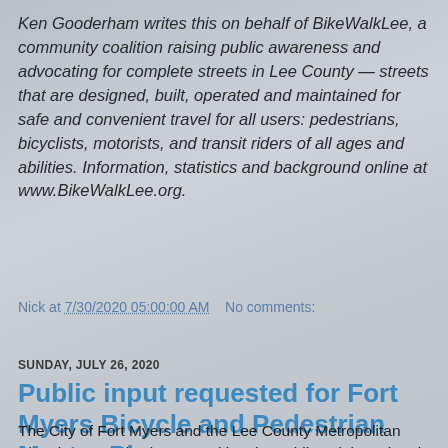Ken Gooderham writes this on behalf of BikeWalkLee, a community coalition raising public awareness and advocating for complete streets in Lee County — streets that are designed, built, operated and maintained for safe and convenient travel for all users: pedestrians, bicyclists, motorists, and transit riders of all ages and abilities. Information, statistics and background online at www.BikeWalkLee.org.
Nick at 7/30/2020 05:00:00 AM   No comments:
SUNDAY, JULY 26, 2020
Public input requested for Fort Myers Bicycle and Pedestrian Master Plan
The City of Fort Myers and the Lee County Metropolitan Planning Organization are asking the public to join a virtual meeting on Monday, July 27 to discuss the Fort Myers